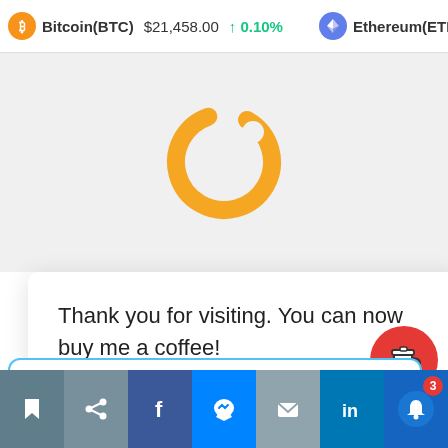Bitcoin(BTC) $21,458.00 ↑ 0.10%   Ethereum(ETH) $1,650.8
[Figure (illustration): Orange circular logo/icon (partial view) on a light gray background]
Thank you for visiting. You can now buy me a coffee!
Corbett Pirate Streams - #SolutionsWatch
16 minutes ago